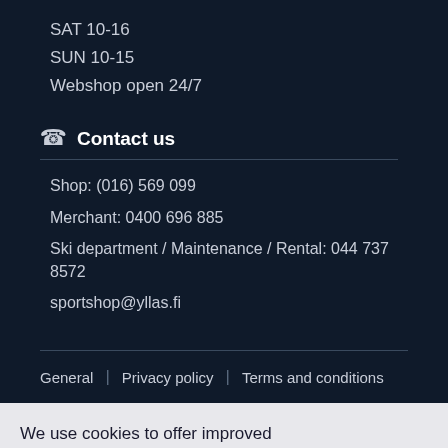SAT 10-16
SUN 10-15
Webshop open 24/7
Contact us
Shop: (016) 569 099
Merchant: 0400 696 885
Ski department / Maintenance / Rental: 044 737 8572
sportshop@yllas.fi
General | Privacy policy | Terms and conditions
We use cookies to offer improved online user experience. By continuing to use this site you agree to the use of cookies. Read more about cookies at our Privacy Policy.